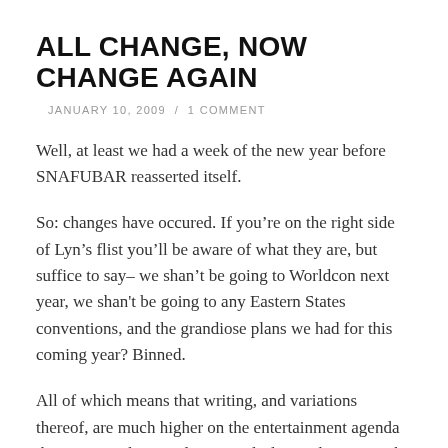ALL CHANGE, NOW CHANGE AGAIN
JANUARY 10, 2009 / 1 COMMENT
Well, at least we had a week of the new year before SNAFUBAR reasserted itself.
So: changes have occured. If you’re on the right side of Lyn’s flist you’ll be aware of what they are, but suffice to say– we shan’t be going to Worldcon next year, we shan't be going to any Eastern States conventions, and the grandiose plans we had for this coming year? Binned.
All of which means that writing, and variations thereof, are much higher on the entertainment agenda than previously. I’ve done very little wordage since the turn of the year, mainly due to dealing with heading back to